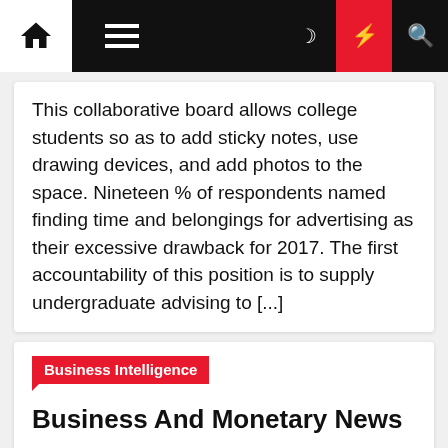Navigation bar with home, menu, dark mode, lightning, and search icons
This collaborative board allows college students so as to add sticky notes, use drawing devices, and add photos to the space. Nineteen % of respondents named finding time and belongings for advertising as their excessive drawback for 2017. The first accountability of this position is to supply undergraduate advising to [...]
Business Intelligence
Business And Monetary News
Laveta Brigham  4 years ago
TUT's new promotional video titled Evaluation is the essential factor to the long run" takes you on a